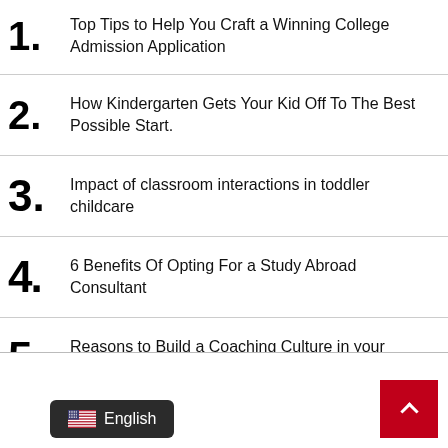1. Top Tips to Help You Craft a Winning College Admission Application
2. How Kindergarten Gets Your Kid Off To The Best Possible Start.
3. Impact of classroom interactions in toddler childcare
4. 6 Benefits Of Opting For a Study Abroad Consultant
5. Reasons to Build a Coaching Culture in your Organization
English